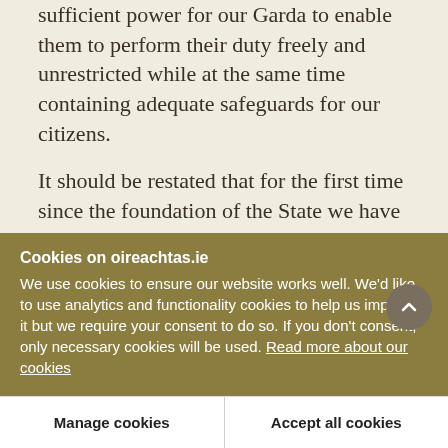sufficient power for our Garda to enable them to perform their duty freely and unrestricted while at the same time containing adequate safeguards for our citizens.
It should be restated that for the first time since the foundation of the State we have on the Statute Book an Act which empowers the Garda to arrest any citizen on suspicion and to detain him for questioning for up to 20 hours. That is a significant departure from the legislation under which the
Cookies on oireachtas.ie
We use cookies to ensure our website works well. We'd like to use analytics and functionality cookies to help us improve it but we require your consent to do so. If you don't consent, only necessary cookies will be used. Read more about our cookies
Manage cookies
Accept all cookies